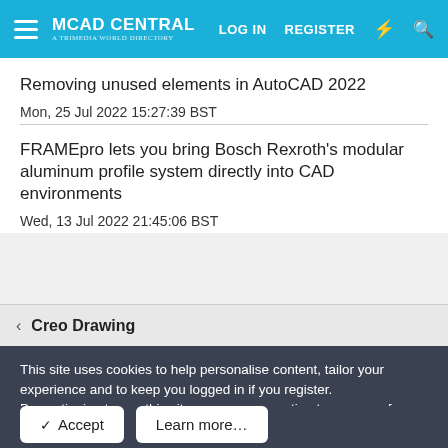MCAD CENTRAL | LOG IN | REGISTER
Removing unused elements in AutoCAD 2022
Mon, 25 Jul 2022 15:27:39 BST
FRAMEpro lets you bring Bosch Rexroth's modular aluminum profile system directly into CAD environments
Wed, 13 Jul 2022 21:45:06 BST
Creo Drawing
This site uses cookies to help personalise content, tailor your experience and to keep you logged in if you register.
By continuing to use this site, you are consenting to our use of cookies.